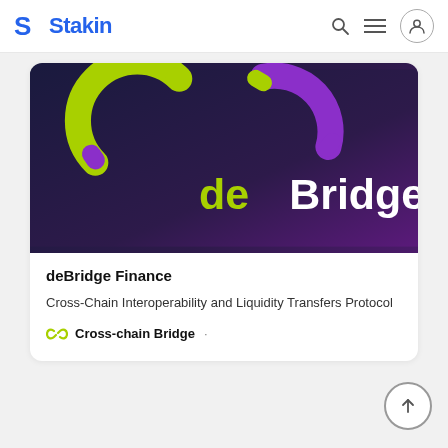Stakin
[Figure (logo): deBridge Finance banner with green and purple curved chain-link logo elements on a dark navy-to-purple gradient background, with the text 'deBridge' in lime green and white]
deBridge Finance
Cross-Chain Interoperability and Liquidity Transfers Protocol
Cross-chain Bridge ·